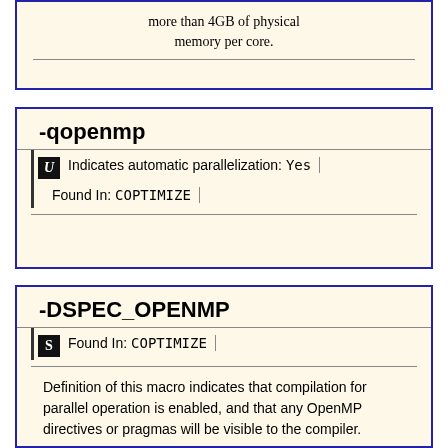more than 4GB of physical memory per core.
-qopenmp
Indicates automatic parallelization: Yes
Found In: COPTIMIZE
-DSPEC_OPENMP
Found In: COPTIMIZE
Definition of this macro indicates that compilation for parallel operation is enabled, and that any OpenMP directives or pragmas will be visible to the compiler.